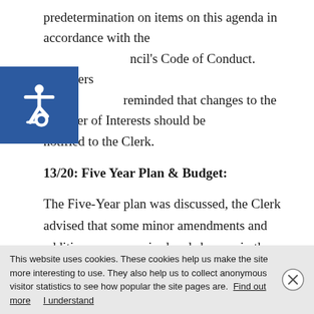predetermination on items on this agenda in accordance with the ncil's Code of Conduct. Members reminded that changes to the Register of Interests should be notified to the Clerk.
13/20: Five Year Plan & Budget:
The Five-Year plan was discussed, the Clerk advised that some minor amendments and additions were required and she was in the process of completing those. Cllr. Fairweather noted that it was more of a
This website uses cookies. These cookies help us make the site more interesting to use. They also help us to collect anonymous visitor statistics to see how popular the site pages are. Find out more   I understand